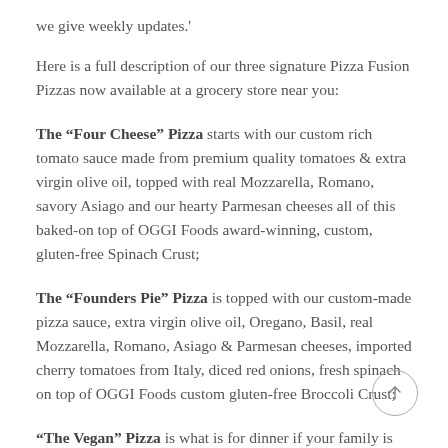we give weekly updates.'
Here is a full description of our three signature Pizza Fusion Pizzas now available at a grocery store near you:
The “Four Cheese” Pizza starts with our custom rich tomato sauce made from premium quality tomatoes & extra virgin olive oil, topped with real Mozzarella, Romano, savory Asiago and our hearty Parmesan cheeses all of this baked-on top of OGGI Foods award-winning, custom, gluten-free Spinach Crust;
The “Founders Pie” Pizza is topped with our custom-made pizza sauce, extra virgin olive oil, Oregano, Basil, real Mozzarella, Romano, Asiago & Parmesan cheeses, imported cherry tomatoes from Italy, diced red onions, fresh spinach on top of OGGI Foods custom gluten-free Broccoli Crust;
“The Vegan” Pizza is what is for dinner if your family is